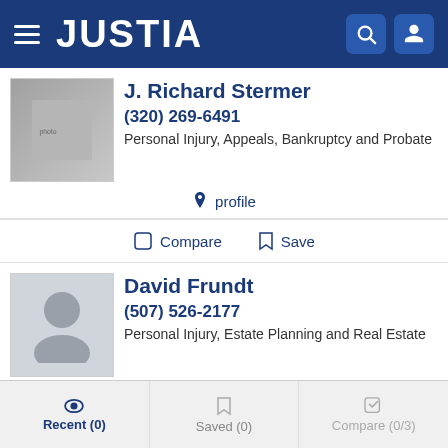JUSTIA
J. Richard Stermer
(320) 269-6491
Personal Injury, Appeals, Bankruptcy and Probate
profile
Compare   Save
David Frundt
(507) 526-2177
Personal Injury, Estate Planning and Real Estate
website   profile   email
Compare   Save
Recent (0)   Saved (0)   Compare (0/3)